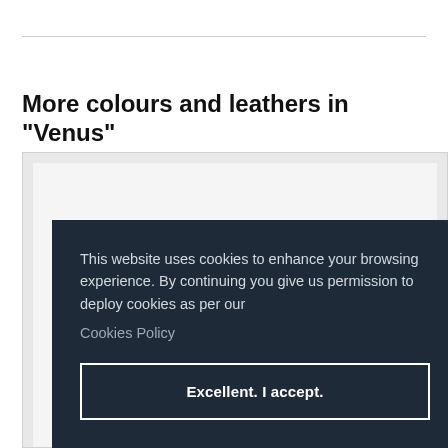More colours and leathers in "Venus"
[Figure (photo): Product photo area showing shoes, partially obscured by cookie consent overlay. Bottom hints of a red shoe on the left and a gold item on the right.]
This website uses cookies to enhance your browsing experience. By continuing you give us permission to deploy cookies as per our Cookies Policy
Excellent. I accept.